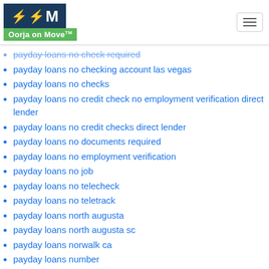Oorja on Move
payday loans no check required
payday loans no checking account las vegas
payday loans no checks
payday loans no credit check no employment verification direct lender
payday loans no credit checks direct lender
payday loans no documents required
payday loans no employment verification
payday loans no job
payday loans no telecheck
payday loans no teletrack
payday loans north augusta
payday loans north augusta sc
payday loans norwalk ca
payday loans number
payday loans ny state